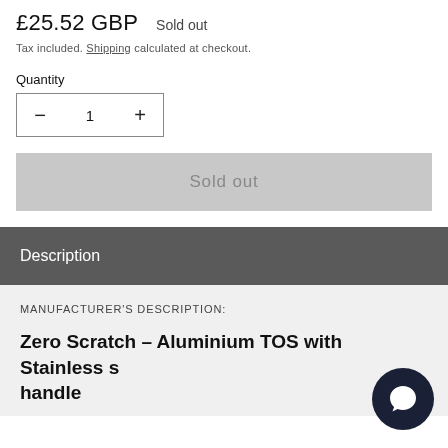£25.52 GBP   Sold out
Tax included. Shipping calculated at checkout.
Quantity
1
Sold out
Description
MANUFACTURER'S DESCRIPTION:
Zero Scratch – Aluminium TOS with Stainless s handle